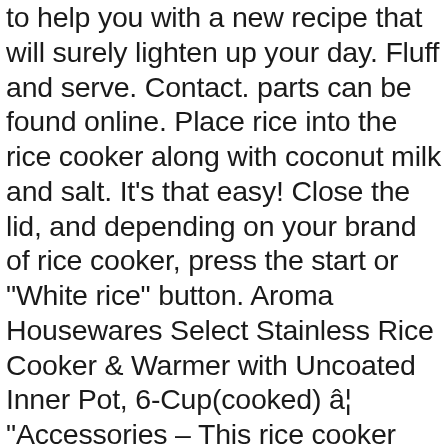to help you with a new recipe that will surely lighten up your day. Fluff and serve. Contact. parts can be found online. Place rice into the rice cooker along with coconut milk and salt. It's that easy! Close the lid, and depending on your brand of rice cooker, press the start or "White rice" button. Aroma Housewares Select Stainless Rice Cooker & Warmer with Uncoated Inner Pot, 6-Cup(cooked) â¦ "Accessories – This rice cooker includes a non-stick inner pot, rice measuring cup, steam tray, and a plastic rice spatula. Make-Ahead Tutorial: How to Make Perfect Brown Rice In Your … Aroma Rice cooker&Slow cooker&Food steamer ARC-6106 3L/6 cups uncooked. Push cook. Aroma ARC-996 rice cooker | Best Aroma Rice Cookers. Fortunately, by learning how to use the Aroma rice cooker, anyone can kick the guesswork out of this artistic process and achieve accurate results.For the busy or bourgeoning home chef, a rice cooker simplifies and streamlines the art of conjuring